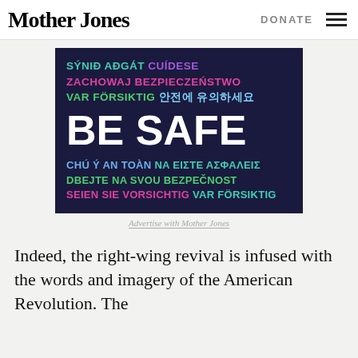Mother Jones | DONATE
[Figure (infographic): Dark navy blue square ad with multilingual 'BE SAFE' message. Top lines in teal/green/purple: 'SÝNIÐ AÐGÁT CUÍDESE', 'ZACHOWAJ BEZPIECZEŃSTWO', 'VAR FÖRSIKTIG 안전에 유의하세요'. Large white bold text: 'BE SAFE'. Bottom lines: 'CHÚ Ý AN TOÀN NA ΕΙΣΤΕ ΑΣΦΑΛΕΙΣ' (blue/teal), 'DBEJTE NA SVOU BEZPEČNOST' (green), 'SEIEN SIE VORSICHTIG VAR FÖRSIKTIG' (pink/teal).]
Advertise with Mother Jones
Indeed, the right-wing revival is infused with the words and imagery of the American Revolution. The